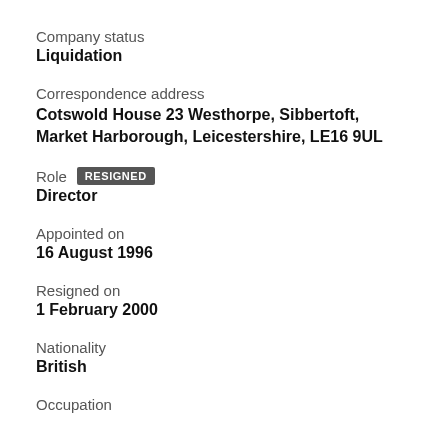Company status
Liquidation
Correspondence address
Cotswold House 23 Westhorpe, Sibbertoft, Market Harborough, Leicestershire, LE16 9UL
Role  RESIGNED
Director
Appointed on
16 August 1996
Resigned on
1 February 2000
Nationality
British
Occupation